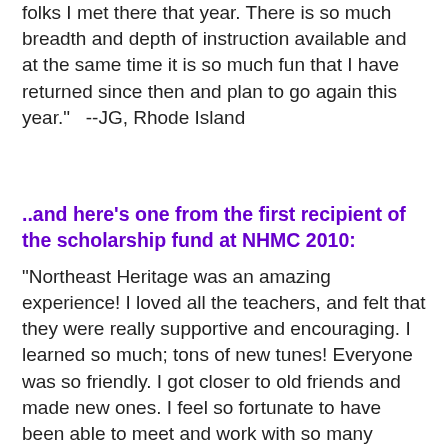folks I met there that year. There is so much breadth and depth of instruction available and at the same time it is so much fun that I have returned since then and plan to go again this year."   --JG, Rhode Island
..and here's one from the first recipient of the scholarship fund at NHMC 2010:
"Northeast Heritage was an amazing experience! I loved all the teachers, and felt that they were really supportive and encouraging. I learned so much; tons of new tunes! Everyone was so friendly. I got closer to old friends and made new ones. I feel so fortunate to have been able to meet and work with so many amazing musicians.
I am so thankful that I got a scholarship, which